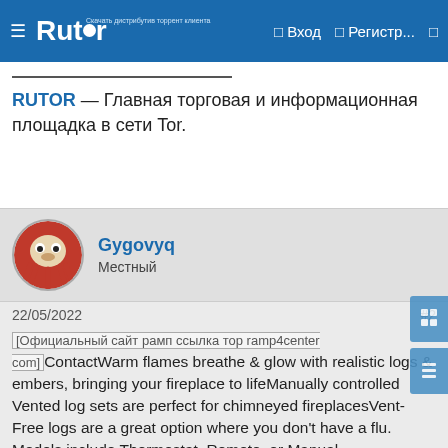Rutor — Вход  Регистр...
RUTOR — Главная торговая и информационная площадка в сети Tor.
Gygovyq
Местный
22/05/2022  #2
[Официальный сайт рамп ссылка тор ramp4center com] ContactWarm flames breathe & glow with realistic logs & embers, bringing your fireplace to lifeManually controlled Vented log sets are perfect for chimneyed fireplacesVent-Free logs are a great option where you don't have a flu. Models include Thermostat, Remote, or Manual controlsRemote models have a unique self-charging feature that allows the battery to be re-